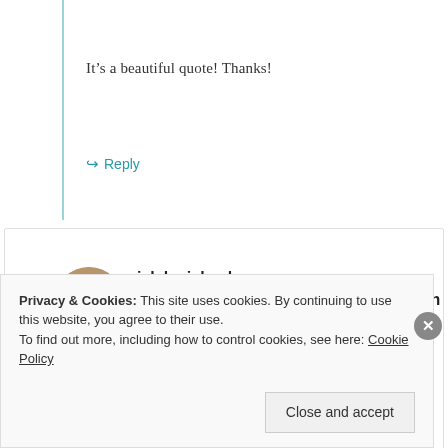It’s a beautiful quote! Thanks!
→ Reply
jalal michael sabbagh.http://gravatar.com/jmsabbagh86@gmail.com
January 20, 2013 at 01:22
Privacy & Cookies: This site uses cookies. By continuing to use this website, you agree to their use. To find out more, including how to control cookies, see here: Cookie Policy
Close and accept